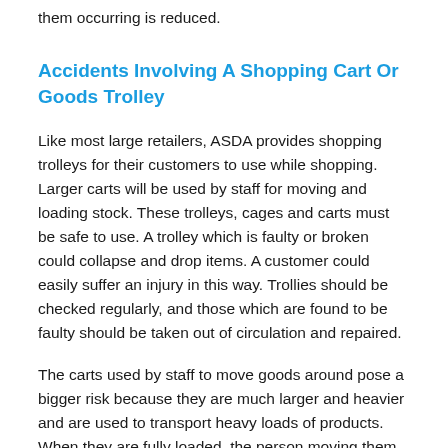them occurring is reduced.
Accidents Involving A Shopping Cart Or Goods Trolley
Like most large retailers, ASDA provides shopping trolleys for their customers to use while shopping. Larger carts will be used by staff for moving and loading stock. These trolleys, cages and carts must be safe to use. A trolley which is faulty or broken could collapse and drop items. A customer could easily suffer an injury in this way. Trollies should be checked regularly, and those which are found to be faulty should be taken out of circulation and repaired.
The carts used by staff to move goods around pose a bigger risk because they are much larger and heavier and are used to transport heavy loads of products. When they are fully loaded, the person moving them might have a